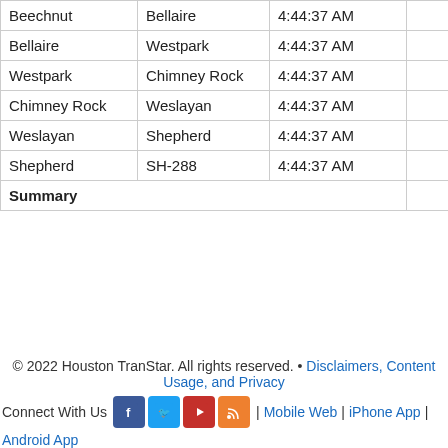| From | To | Time | Miles | Duration |
| --- | --- | --- | --- | --- |
| Beechnut | Bellaire | 4:44:37 AM | 1.10 | 1:1… |
| Bellaire | Westpark | 4:44:37 AM | 1.80 | 1:4… |
| Westpark | Chimney Rock | 4:44:37 AM | 0.90 | 00:5… |
| Chimney Rock | Weslayan | 4:44:37 AM | 2.10 | 1:5… |
| Weslayan | Shepherd | 4:44:37 AM | 1.80 | 1:3… |
| Shepherd | SH-288 | 4:44:37 AM | 2.10 | 1:5… |
| Summary |  |  | 35.6 | 32:2… |
© 2022 Houston TranStar. All rights reserved. • Disclaimers, Content Usage, and Privacy
Connect With Us [Facebook] [Twitter] [YouTube] [RSS] | Mobile Web | iPhone App | Android App